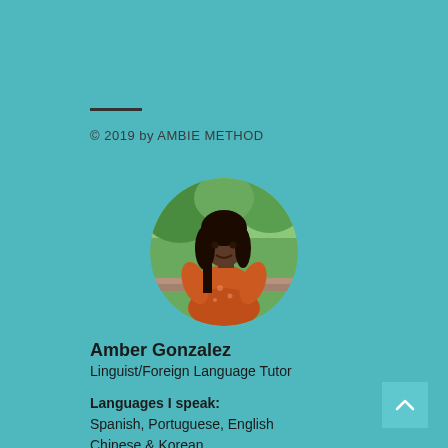© 2019 by AMBIE METHOD
[Figure (photo): Circular profile photo of Amber Gonzalez, a woman wearing an orange/rust floral dress, standing outdoors with greenery in the background.]
Amber Gonzalez
Linguist/Foreign Language Tutor
Languages I speak:
Spanish, Portuguese, English
Chinese & Korean